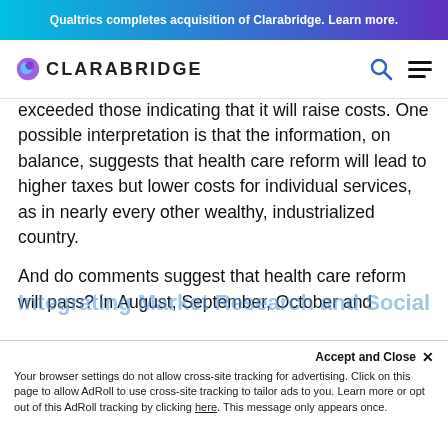Qualtrics completes acquisition of Clarabridge. Learn more.
[Figure (logo): Clarabridge logo with speech bubble icon and text CLARABRIDGE, plus search and menu icons]
exceeded those indicating that it will raise costs. One possible interpretation is that the information, on balance, suggests that health care reform will lead to higher taxes but lower costs for individual services, as in nearly every other wealthy, industrialized country.
And do comments suggest that health care reform will pass? In August, September, October and November, the gap between comments suggesting it will pass and those suggesting it will not grew steadily—the gap is wider now than at any time in the past six months. The simple answer is yes.
Integrating Market Research and Social
Accept and Close ✕ Your browser settings do not allow cross-site tracking for advertising. Click on this page to allow AdRoll to use cross-site tracking to tailor ads to you. Learn more or opt out of this AdRoll tracking by clicking here. This message only appears once.